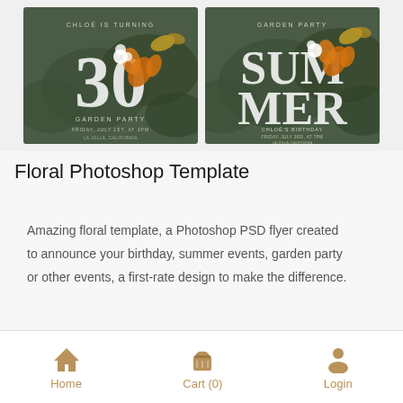[Figure (photo): Two green tropical floral garden party invitation card designs side by side. Left card shows '30' with flowers and butterflies on dark green background with 'GARDEN PARTY' text. Right card shows 'SUMMER' text with similar tropical floral design.]
Floral Photoshop Template
Amazing floral template, a Photoshop PSD flyer created to announce your birthday, summer events, garden party or other events, a first-rate design to make the difference.
All the elements are modifiable and
Home   Cart (0)   Login